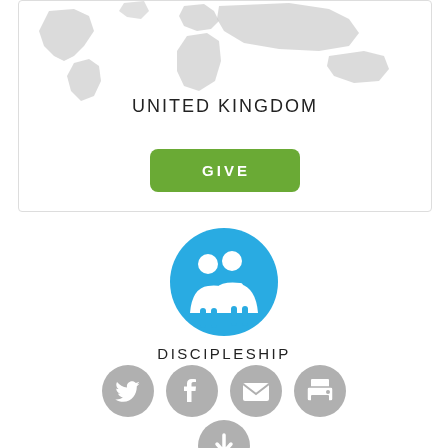[Figure (map): Partial world map in light gray showing continents]
UNITED KINGDOM
[Figure (illustration): Green button labeled GIVE]
[Figure (illustration): Blue circle icon with two people figures representing Discipleship]
DISCIPLESHIP
[Figure (infographic): Row of gray social sharing icons: Twitter, Facebook, Email, Print, and Download]